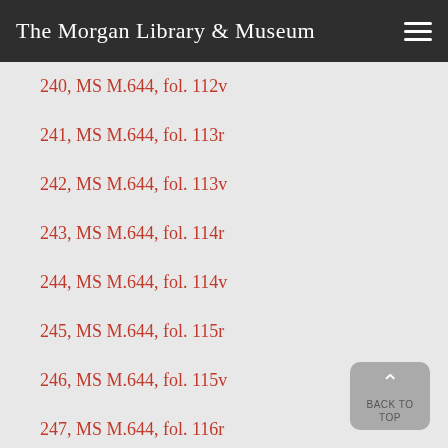The Morgan Library & Museum
240, MS M.644, fol. 112v
241, MS M.644, fol. 113r
242, MS M.644, fol. 113v
243, MS M.644, fol. 114r
244, MS M.644, fol. 114v
245, MS M.644, fol. 115r
246, MS M.644, fol. 115v
247, MS M.644, fol. 116r
248, MS M.644, fol. 116v
249, MS M.644, fol. 117r